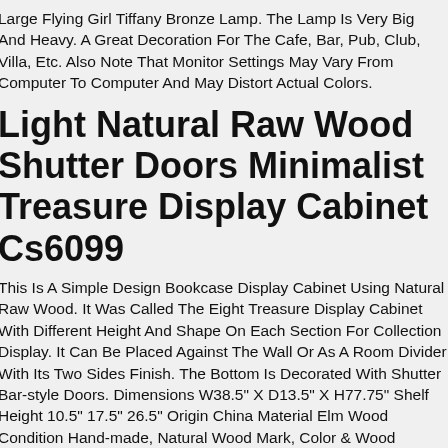Large Flying Girl Tiffany Bronze Lamp. The Lamp Is Very Big And Heavy. A Great Decoration For The Cafe, Bar, Pub, Club, Villa, Etc. Also Note That Monitor Settings May Vary From Computer To Computer And May Distort Actual Colors.
Light Natural Raw Wood Shutter Doors Minimalist Treasure Display Cabinet Cs6099
This Is A Simple Design Bookcase Display Cabinet Using Natural Raw Wood. It Was Called The Eight Treasure Display Cabinet With Different Height And Shape On Each Section For Collection Display. It Can Be Placed Against The Wall Or As A Room Divider With Its Two Sides Finish. The Bottom Is Decorated With Shutter Bar-style Doors. Dimensions W38.5" X D13.5" X H77.75" Shelf Height 10.5" 17.5" 26.5" Origin China Material Elm Wood Condition Hand-made, Natural Wood Mark, Color & Wood Pattern Variation. Work Ship In One Piece, $595 n House White-glove Takes 4-6 Weeks.